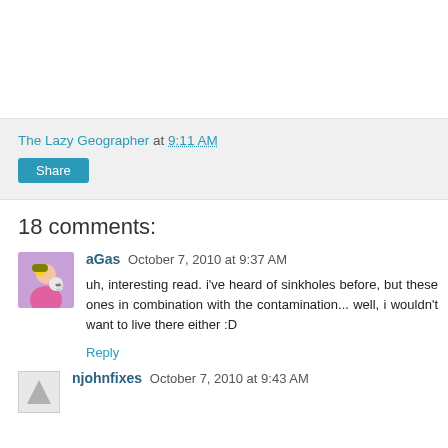The Lazy Geographer at 9:11 AM
Share
18 comments:
aGas October 7, 2010 at 9:37 AM
uh, interesting read. i've heard of sinkholes before, but these ones in combination with the contamination... well, i wouldn't want to live there either :D
Reply
njohnfixes October 7, 2010 at 9:43 AM